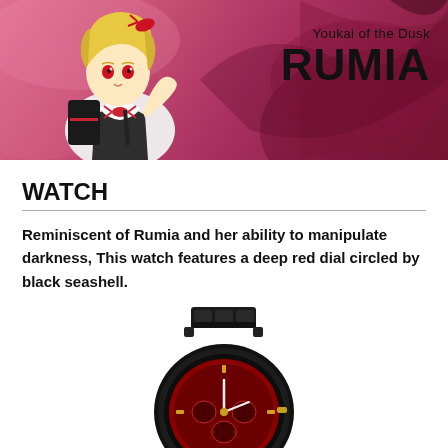[Figure (illustration): Banner image showing anime character Rumia (blonde girl with red eyes in white outfit with black vest and red bow) against a pink/magenta background with decorative swirls. Text overlay reads 'Youkai of the Dusk RUMIA' on the right side.]
WATCH
Reminiscent of Rumia and her ability to manipulate darkness, This watch features a deep red dial circled by black seashell.
[Figure (photo): Photo of a black watch with metal bracelet band, featuring a deep red/dark dial face with gold accents, viewed from a slightly angled perspective.]